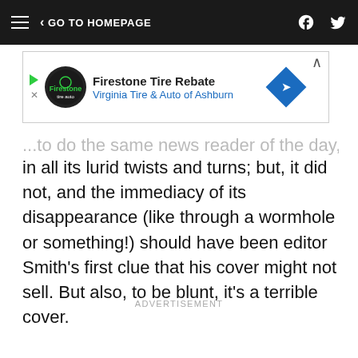GO TO HOMEPAGE
[Figure (other): Firestone Tire Rebate advertisement banner for Virginia Tire & Auto of Ashburn]
...to do the same news reader of the day, explored in all its lurid twists and turns; but, it did not, and the immediacy of its disappearance (like through a wormhole or something!) should have been editor Smith's first clue that his cover might not sell. But also, to be blunt, it's a terrible cover.
ADVERTISEMENT